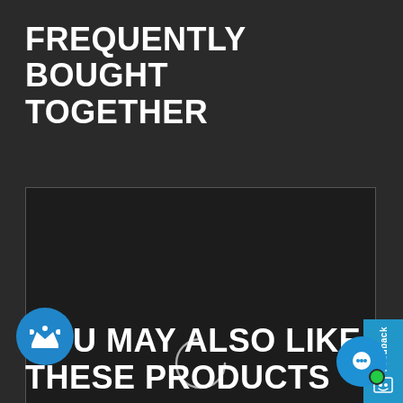FREQUENTLY BOUGHT TOGETHER
[Figure (screenshot): Loading spinner (partial circle arc) inside a dark bordered box indicating content is loading]
[Figure (other): Blue feedback tab on the right side with 'Feedback' text rotated vertically and a smiley face icon]
YOU MAY ALSO LIKE THESE PRODUCTS
[Figure (other): Blue circular crown/badge icon at bottom left]
[Figure (other): Blue circular chat bubble icon with green online indicator dot at bottom right]